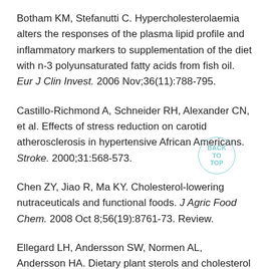Botham KM, Stefanutti C. Hypercholesterolaemia alters the responses of the plasma lipid profile and inflammatory markers to supplementation of the diet with n-3 polyunsaturated fatty acids from fish oil. Eur J Clin Invest. 2006 Nov;36(11):788-795.
Castillo-Richmond A, Schneider RH, Alexander CN, et al. Effects of stress reduction on carotid atherosclerosis in hypertensive African Americans. Stroke. 2000;31:568-573.
Chen ZY, Jiao R, Ma KY. Cholesterol-lowering nutraceuticals and functional foods. J Agric Food Chem. 2008 Oct 8;56(19):8761-73. Review.
Ellegard LH, Andersson SW, Normen AL, Andersson HA. Dietary plant sterols and cholesterol